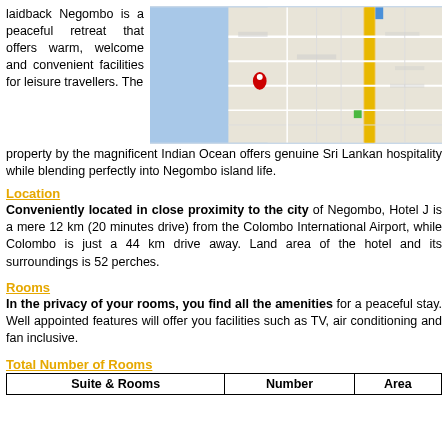laidback Negombo is a peaceful retreat that offers warm, welcome and convenient facilities for leisure travellers. The property by the magnificent Indian Ocean offers genuine Sri Lankan hospitality while blending perfectly into Negombo island life.
[Figure (map): Google Maps view of Negombo area showing coastline, roads, and a red location pin marking Hotel J near the beach.]
Location
Conveniently located in close proximity to the city of Negombo, Hotel J is a mere 12 km (20 minutes drive) from the Colombo International Airport, while Colombo is just a 44 km drive away. Land area of the hotel and its surroundings is 52 perches.
Rooms
In the privacy of your rooms, you find all the amenities for a peaceful stay. Well appointed features will offer you facilities such as TV, air conditioning and fan inclusive.
Total Number of Rooms
| Suite & Rooms | Number | Area |
| --- | --- | --- |